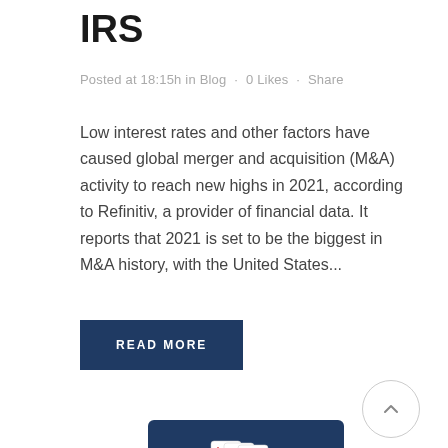IRS
Posted at 18:15h in Blog · 0 Likes · Share
Low interest rates and other factors have caused global merger and acquisition (M&A) activity to reach new highs in 2021, according to Refinitiv, a provider of financial data. It reports that 2021 is set to be the biggest in M&A history, with the United States...
READ MORE
[Figure (illustration): Scroll-to-top button: a circle with an upward-pointing arrow inside]
[Figure (illustration): Bottom portion of a card/laptop image with dark blue background showing playing cards]